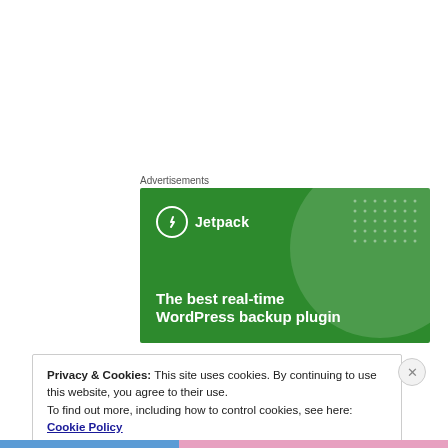Advertisements
[Figure (illustration): Jetpack WordPress plugin advertisement on a green background. Shows Jetpack logo (circle with lightning bolt) and text: 'The best real-time WordPress backup plugin'. Decorative circular shapes and dot patterns in background.]
Privacy & Cookies: This site uses cookies. By continuing to use this website, you agree to their use.
To find out more, including how to control cookies, see here: Cookie Policy
Close and accept